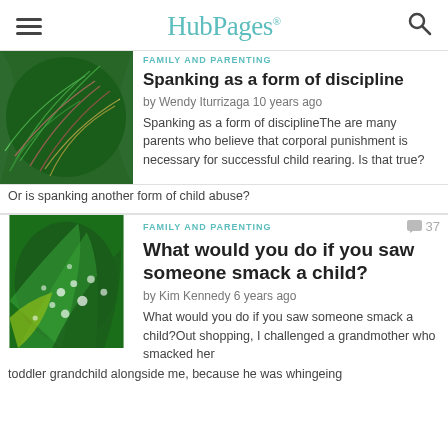HubPages
FAMILY AND PARENTING
Spanking as a form of discipline
by Wendy Iturrizaga 10 years ago
Spanking as a form of disciplineThe are many parents who believe that corporal punishment is necessary for successful child rearing. Is that true? Or is spanking another form of child abuse?
FAMILY AND PARENTING
What would you do if you saw someone smack a child?
by Kim Kennedy 6 years ago
What would you do if you saw someone smack a child?Out shopping, I challenged a grandmother who smacked her toddler grandchild alongside me, because he was whingeing